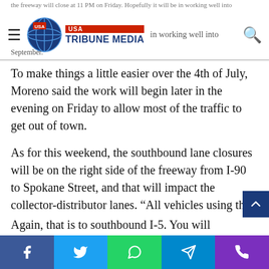USA Tribune Media
To make things a little easier over the 4th of July, Moreno said the work will begin later in the evening on Friday to allow most of the traffic to get out of town.
As for this weekend, the southbound lane closures will be on the right side of the freeway from I-90 to Spokane Street, and that will impact the collector-distributor lanes. “All vehicles using the collector-distributor need to use one of the exits,” Moreno said. “Travelers will not be able to rejoin I-5 and also ramps from I-90 to I-5 will be closed as well.”
Again, that is to southbound I-5. You will still be able to go
Facebook | Twitter | WhatsApp | Telegram | Phone